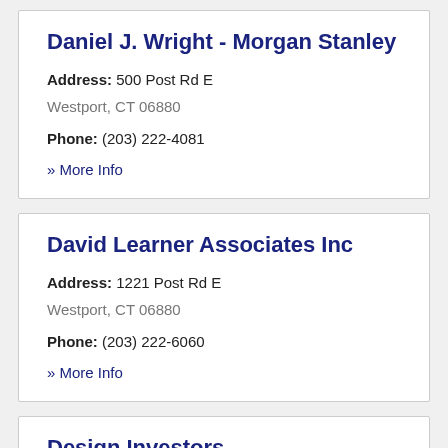Daniel J. Wright - Morgan Stanley
Address: 500 Post Rd E
Westport, CT 06880
Phone: (203) 222-4081
» More Info
David Learner Associates Inc
Address: 1221 Post Rd E
Westport, CT 06880
Phone: (203) 222-6060
» More Info
Design Investors
Address: